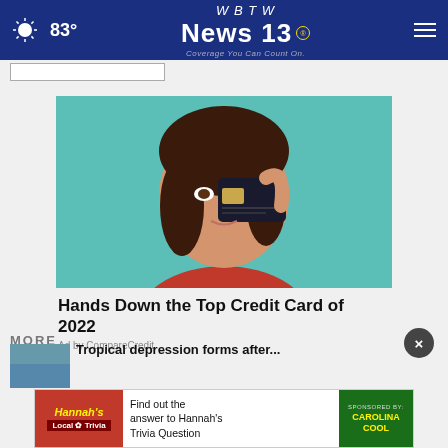83° WBTW News 13 Coverage You Can Count On.
[Figure (photo): Woman holding a dark credit card up to her eye against a teal background]
Hands Down the Top Credit Card of 2022
Ad by CompareCredit
MORE
[Figure (screenshot): Hannah's Local Trivia banner ad: Find out the answer to Hannah's Trivia Question, Sponsored by Carolina Cool]